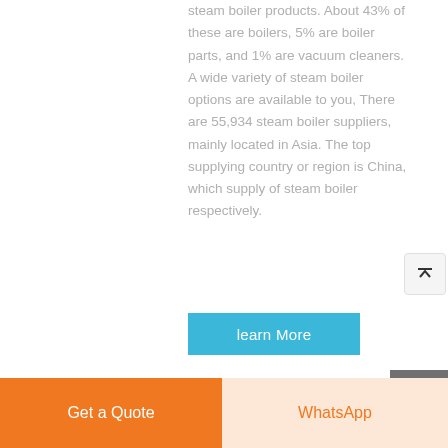steam boiler products. About 43% of these are boilers, 5% are boiler parts, and 1% are vacuum cleaners. A wide variety of steam boiler options are available to you, There are 55,934 steam boiler suppliers, mainly located in Asia. The top supplying country or region is China, which supply of steam boiler respectively.
learn More
Get a Quote
WhatsApp